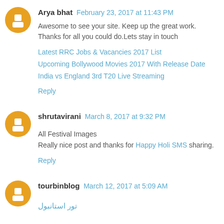Arya bhat  February 23, 2017 at 11:43 PM
Awesome to see your site. Keep up the great work. Thanks for all you could do.Lets stay in touch
Latest RRC Jobs & Vacancies 2017 List
Upcoming Bollywood Movies 2017 With Release Date
India vs England 3rd T20 Live Streaming
Reply
shrutavirani  March 8, 2017 at 9:32 PM
All Festival Images
Really nice post and thanks for Happy Holi SMS sharing.
Reply
tourbinblog  March 12, 2017 at 5:09 AM
تور استانبول